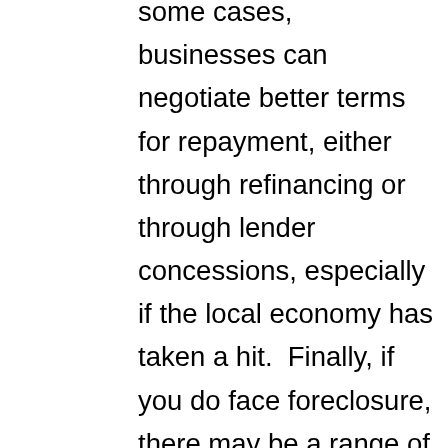some cases, businesses can negotiate better terms for repayment, either through refinancing or through lender concessions, especially if the local economy has taken a hit.  Finally, if you do face foreclosure, there may be a range of defenses available to you.  Contact our commercial real estate lawyer at Legal Counsel, P.A. in Orlando, Florida.  Our lawyer can review your situation, review your loan documents, and determine your needs and work to protect your rights.  There may be several defenses available to you.  Your lender must follow proper legal procedure when foreclosing and